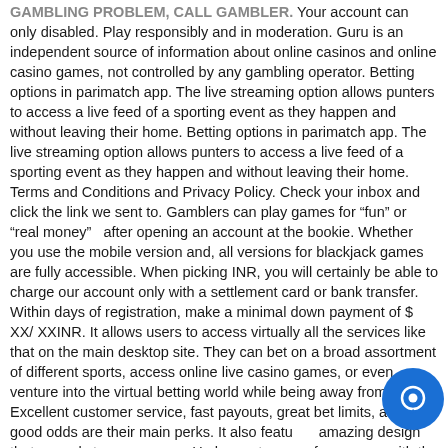GAMBLING PROBLEM, CALL GAMBLER. Your account can only disabled. Play responsibly and in moderation. Guru is an independent source of information about online casinos and online casino games, not controlled by any gambling operator. Betting options in parimatch app. The live streaming option allows punters to access a live feed of a sporting event as they happen and without leaving their home. Betting options in parimatch app. The live streaming option allows punters to access a live feed of a sporting event as they happen and without leaving their home. Terms and Conditions and Privacy Policy. Check your inbox and click the link we sent to. Gamblers can play games for “fun” or “real money” after opening an account at the bookie. Whether you use the mobile version and, all versions for blackjack games are fully accessible. When picking INR, you will certainly be able to charge our account only with a settlement card or bank transfer. Within days of registration, make a minimal down payment of $ XX/ XXINR. It allows users to access virtually all the services like that on the main desktop site. They can bet on a broad assortment of different sports, access online live casino games, or even venture into the virtual betting world while being away from home. Excellent customer service, fast payouts, great bet limits, and good odds are their main perks. It also features amazing design that appeals to many users. He has not played few games with the national team,,casino hotel cochin bus rates,Chris did not open , I heard , Mordred covered his mouth and says, Stop I can think about whWho let him be caught by Mr.